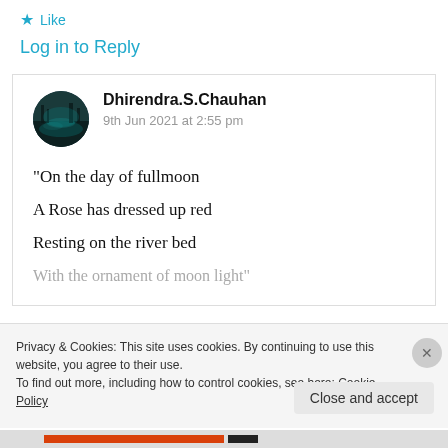★ Like
Log in to Reply
Dhirendra.S.Chauhan
9th Jun 2021 at 2:55 pm
“On the day of fullmoon

A Rose has dressed up red

Resting on the river bed

With the ornament of moon light”
Privacy & Cookies: This site uses cookies. By continuing to use this website, you agree to their use.
To find out more, including how to control cookies, see here: Cookie Policy
Close and accept